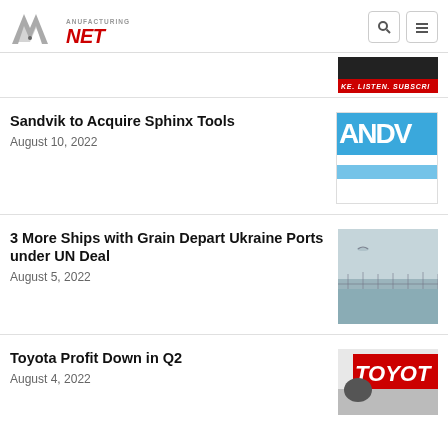Manufacturing.NET
[Figure (screenshot): Banner thumbnail showing 'LIKE. LISTEN. SUBSCRIBE' text]
Sandvik to Acquire Sphinx Tools
August 10, 2022
[Figure (logo): Sandvik logo with blue background showing 'ANDV' text]
3 More Ships with Grain Depart Ukraine Ports under UN Deal
August 5, 2022
[Figure (photo): Photo of ships near a port in hazy/foggy conditions]
Toyota Profit Down in Q2
August 4, 2022
[Figure (photo): Toyota logo in red on white background with person in cap visible]